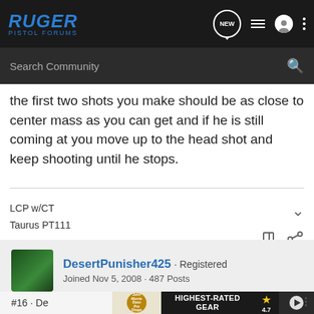RUGER PISTOL FORUMS
the first two shots you make should be as close to center mass as you can get and if he is still coming at you move up to the head shot and keep shooting until he stops.
LCP w/CT
Taurus PT111
DesertPunisher425 · Registered
Joined Nov 5, 2008 · 487 Posts
#16 · De
[Figure (other): Bass Pro Shops advertisement banner: HIGHEST-RATED GEAR, rating 4.7 stars, binoculars image with play button]